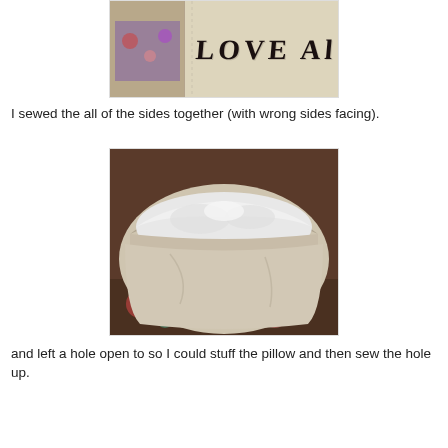[Figure (photo): Close-up photo of canvas fabric with handwritten text 'LOVE Al...' visible, with floral fabric peeking underneath]
I sewed the all of the sides together (with wrong sides facing).
[Figure (photo): Close-up photo of a sewn pillow cover with an opening showing the inside, stuffing visible through the gap, resting on a floral patterned surface]
and left a hole open to so I could stuff the pillow and then sew the hole up.